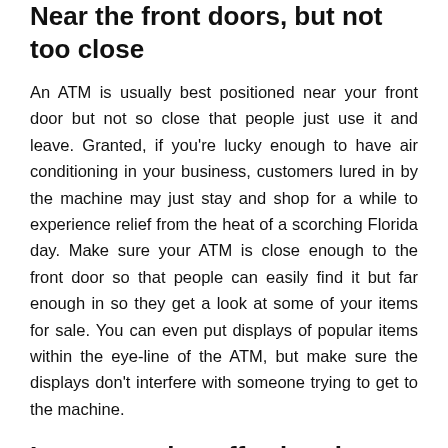Near the front doors, but not too close
An ATM is usually best positioned near your front door but not so close that people just use it and leave. Granted, if you're lucky enough to have air conditioning in your business, customers lured in by the machine may just stay and shop for a while to experience relief from the heat of a scorching Florida day. Make sure your ATM is close enough to the front door so that people can easily find it but far enough in so they get a look at some of your items for sale. You can even put displays of popular items within the eye-line of the ATM, but make sure the displays don't interfere with someone trying to get to the machine.
In an area that affords privacy
People don't want to be crammed in or feel as if someone can peer over their shoulder when they're using an ATM to access any of their accounts. Any good solution...